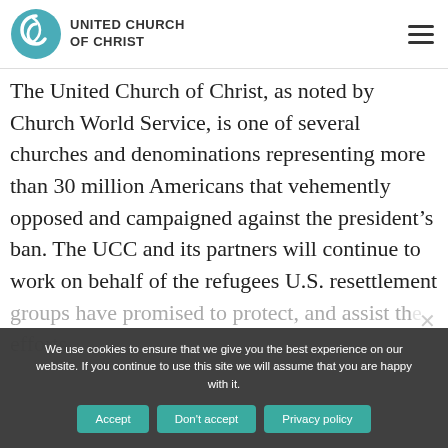UNITED CHURCH OF CHRIST
The United Church of Christ, as noted by Church World Service, is one of several churches and denominations representing more than 30 million Americans that vehemently opposed and campaigned against the president’s ban. The UCC and its partners will continue to work on behalf of the refugees U.S. resettlement groups have promised to protect, and assist the... efforts.
We use cookies to ensure that we give you the best experience on our website. If you continue to use this site we will assume that you are happy with it.